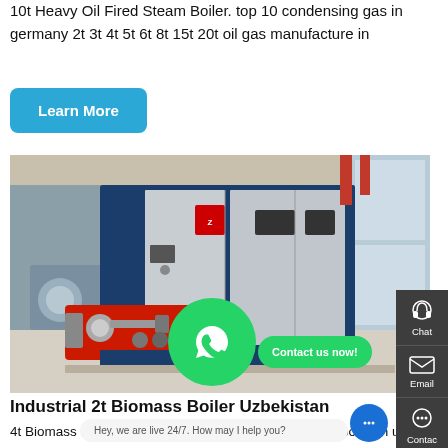10t Heavy Oil Fired Steam Boiler. top 10 condensing gas in germany 2t 3t 4t 5t 6t 8t 15t 20t oil gas manufacture in
Learn More
[Figure (photo): Industrial steam boiler unit – large blue/silver box-type boiler with red burner assembly at left front, inside a factory or industrial facility with windows in background. Copper/red pipes visible at top right.]
Industrial 2t Biomass Boiler Uzbekistan
4t Biomass Boiler Plant Price Uzbekistan. 50t h 15 bhp boiler in uzbekistan - cetinkaya … Industrial Boiler For Hospital steam boiler/hot water . oil Boiler Jun 11, 2019 · Shell boilers may be 000 kg/h is the